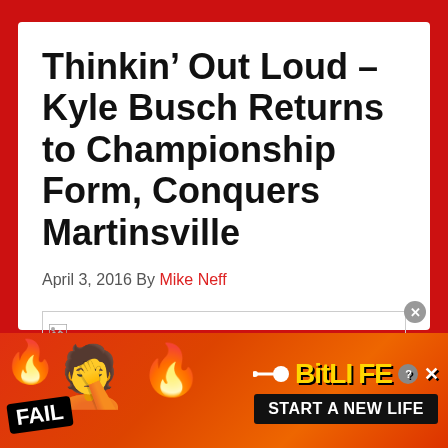Thinkin' Out Loud – Kyle Busch Returns to Championship Form, Conquers Martinsville
April 3, 2016 By Mike Neff
[Figure (other): Broken image placeholder]
[Figure (other): BitLife advertisement banner with FAIL badge, facepalm emoji, flame emojis, sperm icon, BitLife logo, and START A NEW LIFE text]